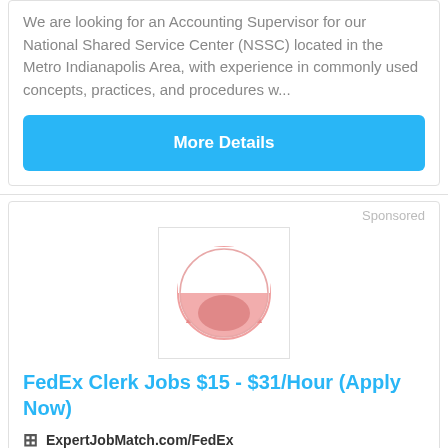We are looking for an Accounting Supervisor for our National Shared Service Center (NSSC) located in the Metro Indianapolis Area, with experience in commonly used concepts, practices, and procedures w...
More Details
Sponsored
[Figure (logo): Pink circular logo with a half-circle shape, resembling a stylized user/profile icon, on a white background with a light grey border]
FedEx Clerk Jobs $15 - $31/Hour (Apply Now)
ExpertJobMatch.com/FedEx